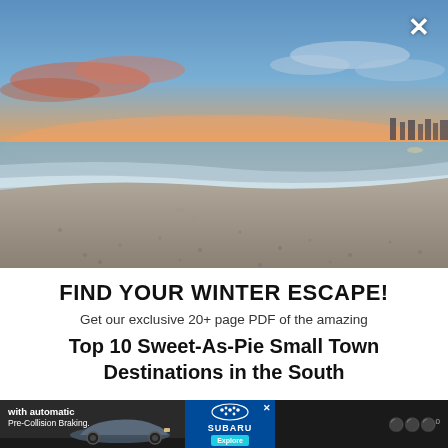[Figure (photo): Beach scene at sunset/dusk with calm ocean waves, sandy shore, orange and blue sky with clouds, city lights visible in far right background.]
FIND YOUR WINTER ESCAPE!
Get our exclusive 20+ page PDF of the amazing
Top 10 Sweet-As-Pie Small Town Destinations in the South
[Figure (screenshot): Advertisement bar at bottom featuring Subaru car with text 'with automatic Pre-Collision Braking.' and Subaru logo with Explore button.]